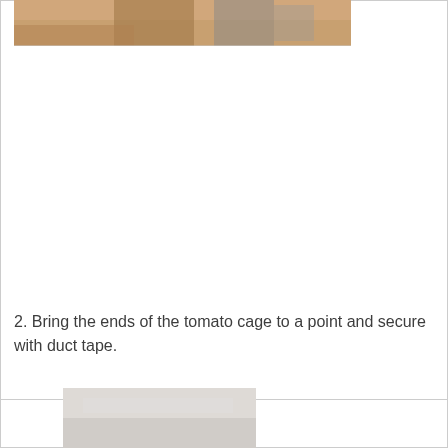[Figure (photo): Top portion of a photo showing a tomato cage being assembled, with wooden floor background visible]
2. Bring the ends of the tomato cage to a point and secure with duct tape.
[Figure (photo): Bottom portion of a photo showing duct tape or similar material on light gray/beige surface]